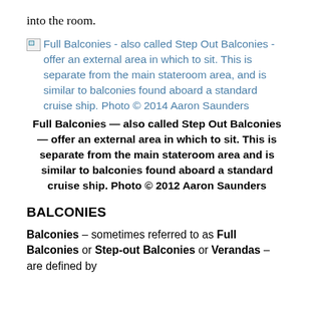into the room.
[Figure (photo): Broken image placeholder followed by linked caption text: 'Full Balconies - also called Step Out Balconies - offer an external area in which to sit. This is separate from the main stateroom area, and is similar to balconies found aboard a standard cruise ship. Photo © 2014 Aaron Saunders']
Full Balconies — also called Step Out Balconies — offer an external area in which to sit. This is separate from the main stateroom area and is similar to balconies found aboard a standard cruise ship. Photo © 2012 Aaron Saunders
BALCONIES
Balconies – sometimes referred to as Full Balconies or Step-out Balconies or Verandas – are defined by